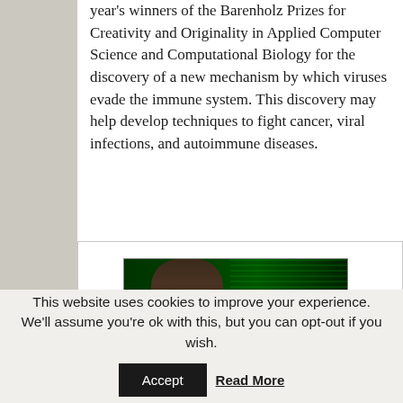year's winners of the Barenholz Prizes for Creativity and Originality in Applied Computer Science and Computational Biology for the discovery of a new mechanism by which viruses evade the immune system. This discovery may help develop techniques to fight cancer, viral infections, and autoimmune diseases.
[Figure (photo): A partially visible photo showing a person in front of a screen displaying green code/text, suggesting a computational biology or computer science context.]
This website uses cookies to improve your experience. We'll assume you're ok with this, but you can opt-out if you wish.
Accept  Read More